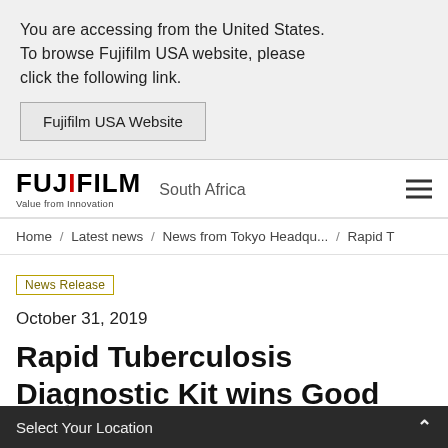You are accessing from the United States. To browse Fujifilm USA website, please click the following link.
Fujifilm USA Website
FUJIFILM South Africa
Home / Latest news / News from Tokyo Headqu... / Rapid T
News Release
October 31, 2019
Rapid Tuberculosis Diagnostic Kit wins Good Design Grand Award 2019
Select Your Location